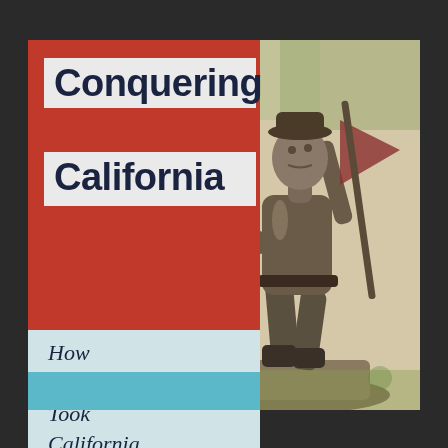Conquering California
How America Took California From Mexico
[Figure (photo): Bronze statue of a man in frontier/military clothing, looking upward dramatically, photographed outdoors with trees in background]